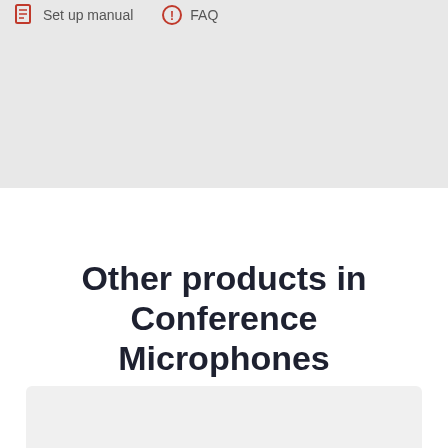Set up manual
FAQ
Other products in Conference Microphones
[Figure (other): Gray card placeholder at bottom of page]